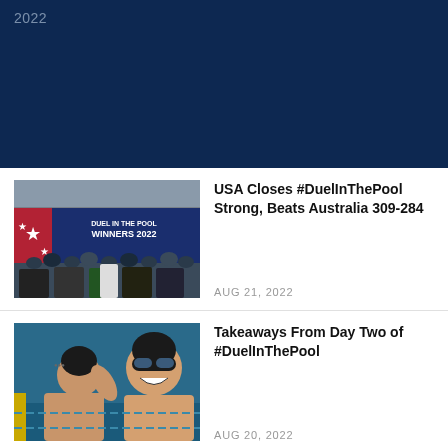[Figure (photo): Dark navy blue hero banner with year '2022' in grey text at top left]
[Figure (photo): Group photo of USA swimming team celebrating Duel in the Pool 2022 win, standing in front of 'Duel in the Pool Winners 2022' banner]
USA Closes #DuelInThePool Strong, Beats Australia 309-284
AUG 21, 2022
[Figure (photo): Two swimmers in black caps and goggles in the pool celebrating]
Takeaways From Day Two of #DuelInThePool
AUG 20, 2022